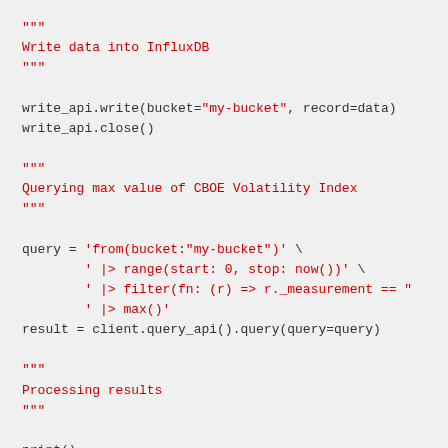Code block showing Python code for writing to InfluxDB, querying max value of CBOE Volatility Index, and processing results.